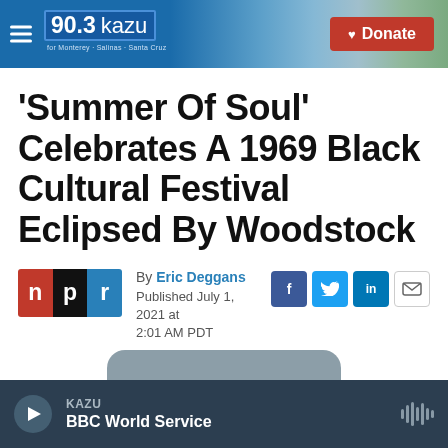90.3 kazu — for Monterey · Salinas · Santa Cruz | Donate
'Summer Of Soul' Celebrates A 1969 Black Cultural Festival Eclipsed By Woodstock
By Eric Deggans
Published July 1, 2021 at 2:01 AM PDT
KAZU — BBC World Service